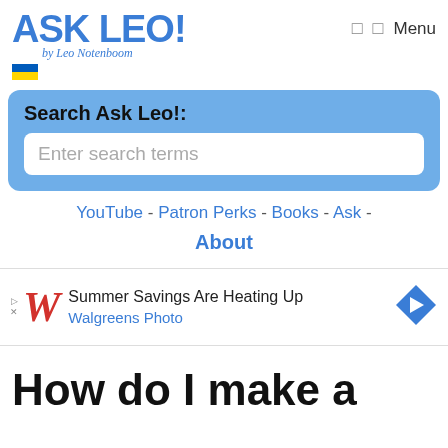ASK LEO! by Leo Notenboom
Search Ask Leo!:
Enter search terms
YouTube - Patron Perks - Books - Ask - About
[Figure (screenshot): Walgreens Photo advertisement banner: Summer Savings Are Heating Up, Walgreens Photo]
How do I make a